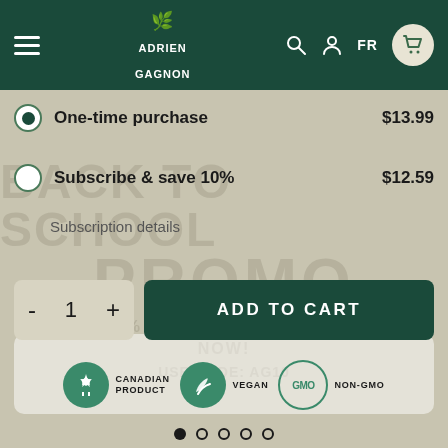Adrien Gagnon — navigation header with hamburger menu, logo, search, account, FR language toggle, and cart icon
One-time purchase $13.99
Subscribe & save 10% $12.59
Subscription details
ADD TO CART (quantity: 1)
[Figure (other): Product badge icons: Canadian Product (maple leaf), Vegan (leaf), Non-GMO (GMO circle logo)]
Pagination dots: 5 dots, first active